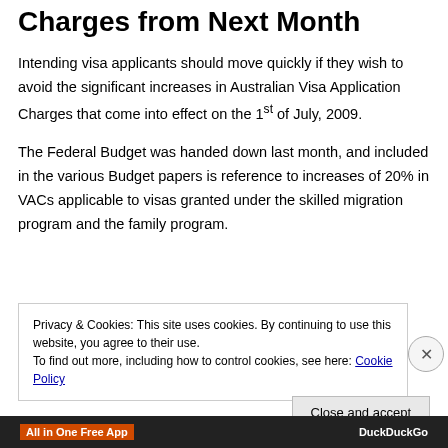Charges from Next Month
Intending visa applicants should move quickly if they wish to avoid the significant increases in Australian Visa Application Charges that come into effect on the 1st of July, 2009.
The Federal Budget was handed down last month, and included in the various Budget papers is reference to increases of 20% in VACs applicable to visas granted under the skilled migration program and the family program.
Privacy & Cookies: This site uses cookies. By continuing to use this website, you agree to their use.
To find out more, including how to control cookies, see here: Cookie Policy